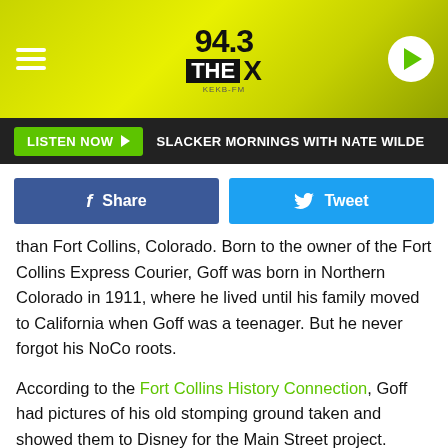[Figure (screenshot): 94.3 The X radio station website header banner with yellow-green background, hamburger menu icon on left, 94.3 THE X logo in center, play button on right]
LISTEN NOW ▶  SLACKER MORNINGS WITH NATE WILDE
[Figure (other): Facebook Share button (blue) and Twitter Tweet button (cyan)]
than Fort Collins, Colorado. Born to the owner of the Fort Collins Express Courier, Goff was born in Northern Colorado in 1911, where he lived until his family moved to California when Goff was a teenager. But he never forgot his NoCo roots.
According to the Fort Collins History Connection, Goff had pictures of his old stomping ground taken and showed them to Disney for the Main Street project. Disney reportedly liked the pictures so much, that Disneyland's City Hall was copied from the one in Fort Collins, as well as the Bank. The movie